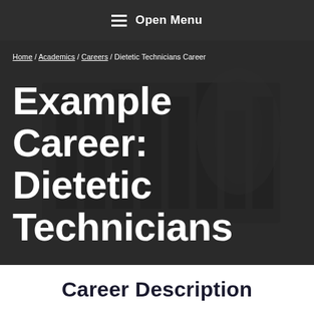Open Menu
Home / Academics / Careers / Dietetic Technicians Career
Example Career: Dietetic Technicians
Career Description